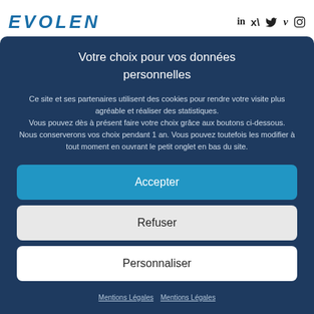[Figure (logo): EVOLEN logo in teal/blue italic uppercase letters]
[Figure (infographic): Social media icons: LinkedIn (in), Twitter (bird), Vimeo (v), Instagram (camera)]
Votre choix pour vos données personnelles
Ce site et ses partenaires utilisent des cookies pour rendre votre visite plus agréable et réaliser des statistiques. Vous pouvez dès à présent faire votre choix grâce aux boutons ci-dessous. Nous conserverons vos choix pendant 1 an. Vous pouvez toutefois les modifier à tout moment en ouvrant le petit onglet en bas du site.
Accepter
Refuser
Personnaliser
Mentions Légales  Mentions Légales